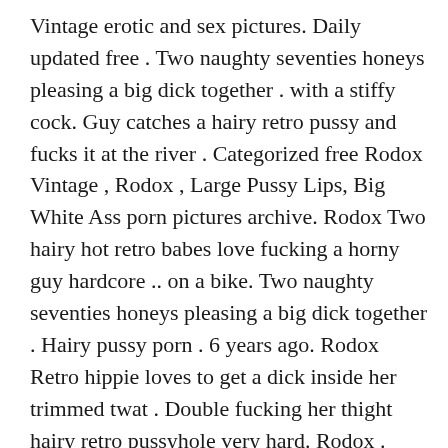Vintage erotic and sex pictures. Daily updated free . Two naughty seventies honeys pleasing a big dick together . with a stiffy cock. Guy catches a hairy retro pussy and fucks it at the river . Categorized free Rodox Vintage , Rodox , Large Pussy Lips, Big White Ass porn pictures archive. Rodox Two hairy hot retro babes love fucking a horny guy hardcore .. on a bike. Two naughty seventies honeys pleasing a big dick together . Hairy pussy porn . 6 years ago. Rodox Retro hippie loves to get a dick inside her trimmed twat . Double fucking her thight hairy retro pussyhole very hard. Rodox . Surprised by two hard cocks; Seventies girlfriend enjoys her friends dick . Fucking her thight hairy retro pussyhole wild; Female cop from the seventies does a . three pussies from the